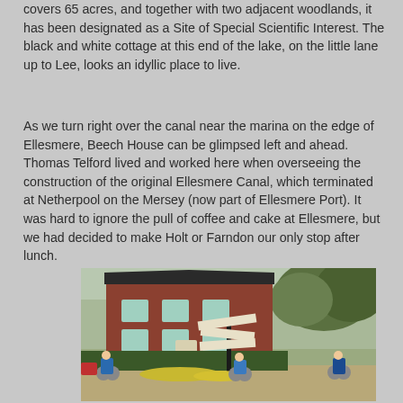covers 65 acres, and together with two adjacent woodlands, it has been designated as a Site of Special Scientific Interest. The black and white cottage at this end of the lake, on the little lane up to Lee, looks an idyllic place to live.
As we turn right over the canal near the marina on the edge of Ellesmere, Beech House can be glimpsed left and ahead. Thomas Telford lived and worked here when overseeing the construction of the original Ellesmere Canal, which terminated at Netherpool on the Mersey (now part of Ellesmere Port). It was hard to ignore the pull of coffee and cake at Ellesmere, but we had decided to make Holt or Farndon our only stop after lunch.
[Figure (photo): Photo of a red brick house with a road junction signpost in the foreground. Three cyclists are visible near the signpost. There are trees in the background and daffodils in the foreground.]